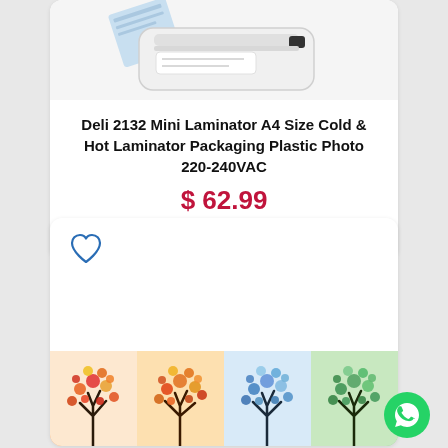[Figure (photo): Top portion of a white Deli 2132 Mini Laminator machine on a white background]
Deli 2132 Mini Laminator A4 Size Cold & Hot Laminator Packaging Plastic Photo 220-240VAC
$ 62.99
Laminator
[Figure (photo): Product listing card showing four colorful tree paintings (four seasons art) arranged horizontally at the bottom, with a heart/wishlist icon at top left]
[Figure (illustration): Green circular WhatsApp icon button in the bottom right corner]